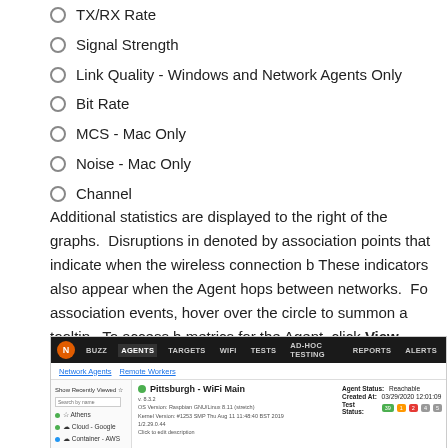TX/RX Rate
Signal Strength
Link Quality - Windows and Network Agents Only
Bit Rate
MCS - Mac Only
Noise - Mac Only
Channel
Additional statistics are displayed to the right of the graphs.  Disruptions in denoted by association points that indicate when the wireless connection b These indicators also appear when the Agent hops between networks.  Fo association events, hover over the circle to summon a tooltip.  To access h metrics for the Agent, click View History above the graphs.
[Figure (screenshot): Screenshot of a network monitoring application showing the Agents page with Pittsburgh - WiFi Main agent selected, displaying status, version info, and wireless tab options including General, Wireless, Console, Path Analysis, and Schedule Tests tabs.]